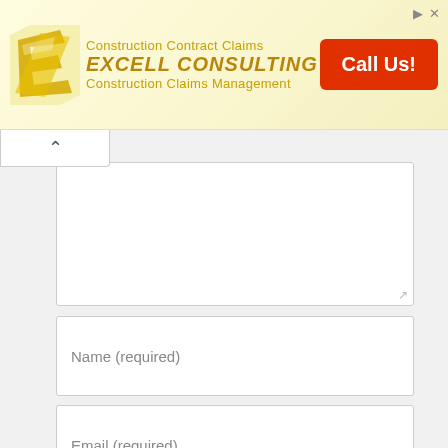[Figure (screenshot): Excell Consulting advertisement banner with logo, company name 'EXCELL CONSULTING', taglines 'Construction Contract Claims' and 'Construction Claims Management', and an orange 'Call Us!' button.]
Name (required)
Email (required)
Website
POST COMMENT